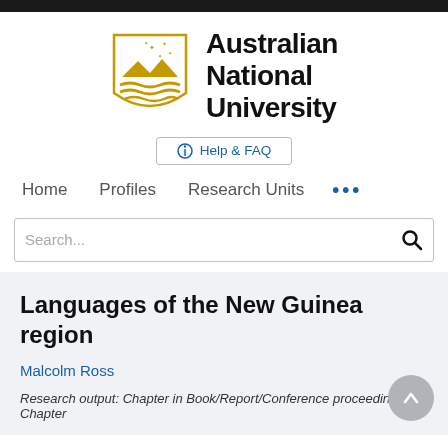[Figure (logo): Australian National University logo with golden shield and university name text]
Help & FAQ
Home   Profiles   Research Units   ...
Search...
Languages of the New Guinea region
Malcolm Ross
Research output: Chapter in Book/Report/Conference proceedings › Chapter